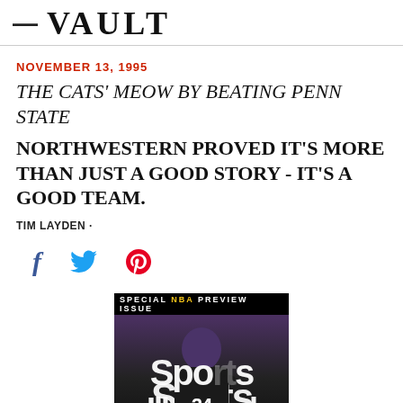— VAULT
NOVEMBER 13, 1995
THE CATS' MEOW BY BEATING PENN STATE
NORTHWESTERN PROVED IT'S MORE THAN JUST A GOOD STORY - IT'S A GOOD TEAM.
TIM LAYDEN ·
[Figure (other): Social media share icons: Facebook (f), Twitter (bird), Pinterest (p)]
[Figure (photo): Sports Illustrated magazine cover showing a football player wearing #24, with text 'SPECIAL NBA PREVIEW ISSUE' banner at top and Sports Illustrated logo overlaid]